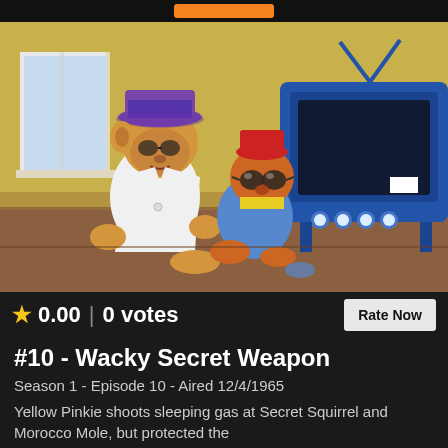[Figure (screenshot): Screenshot from 1965 animated cartoon showing two cartoon animal characters (resembling Secret Squirrel characters) near a blue television set on a yellow/brown background]
★ 0.00 | 0 votes
Rate Now
#10 - Wacky Secret Weapon
Season 1 - Episode 10 - Aired 12/4/1965
Yellow Pinkie shoots sleeping gas at Secret Squirrel and Morocco Mole, but protected the